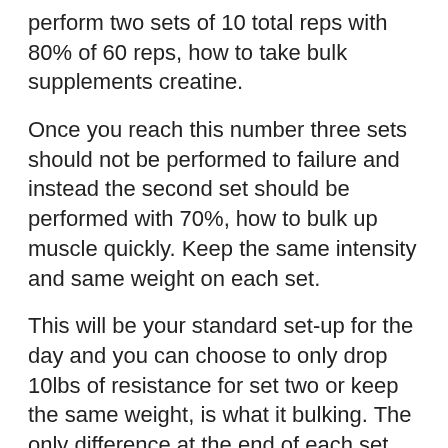perform two sets of 10 total reps with 80% of 60 reps, how to take bulk supplements creatine.
Once you reach this number three sets should not be performed to failure and instead the second set should be performed with 70%, how to bulk up muscle quickly. Keep the same intensity and same weight on each set.
This will be your standard set-up for the day and you can choose to only drop 10lbs of resistance for set two or keep the same weight, is what it bulking. The only difference at the end of each set will be the intensity.
On the day after you perform sets two and three, change the intensity by using 1 to 2% more weight or perform four sets of